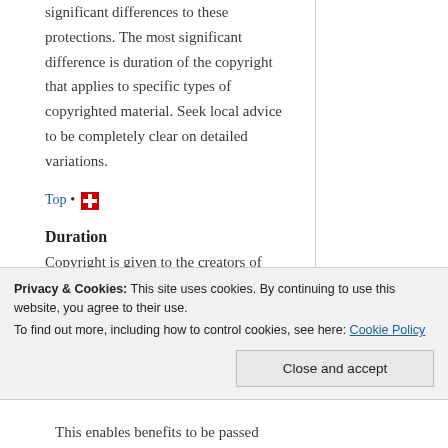significant differences to these protections. The most significant difference is duration of the copyright that applies to specific types of copyrighted material. Seek local advice to be completely clear on detailed variations.
Top •
Duration
Copyright is given to the creators of original works for a specific
Privacy & Cookies: This site uses cookies. By continuing to use this website, you agree to their use.
To find out more, including how to control cookies, see here: Cookie Policy
Close and accept
This enables benefits to be passed